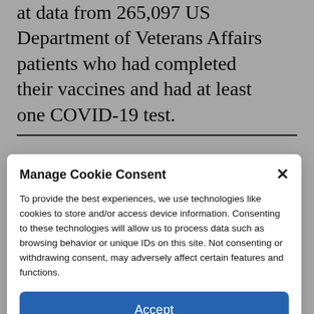at data from 265,097 US Department of Veterans Affairs patients who had completed their vaccines and had at least one COVID-19 test.
Slightly more than 51 percent
Manage Cookie Consent
To provide the best experiences, we use technologies like cookies to store and/or access device information. Consenting to these technologies will allow us to process data such as browsing behavior or unique IDs on this site. Not consenting or withdrawing consent, may adversely affect certain features and functions.
Accept